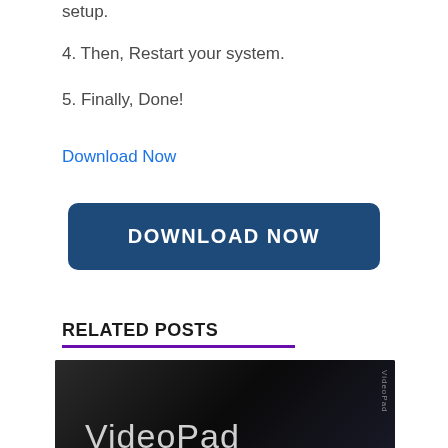setup.
4. Then, Restart your system.
5. Finally, Done!
Download Now
[Figure (other): Blue rounded rectangle button with white bold text reading DOWNLOAD NOW]
RELATED POSTS
[Figure (photo): Dark grayscale image with VideoPad text in large white letters on a black background, with a vertical watermark on the right side]